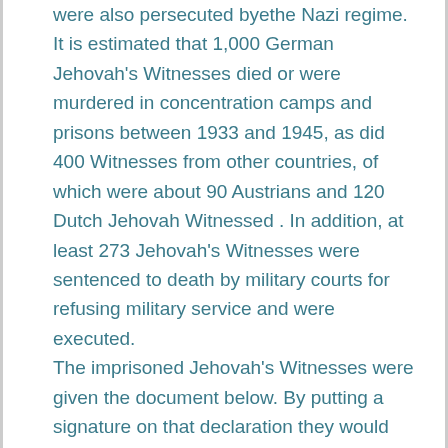were also persecuted byethe Nazi regime. It is estimated that 1,000 German Jehovah's Witnesses died or were murdered in concentration camps and prisons between 1933 and 1945, as did 400 Witnesses from other countries, of which were about 90 Austrians and 120 Dutch Jehovah Witnessed . In addition, at least 273 Jehovah's Witnesses were sentenced to death by military courts for refusing military service and were executed. The imprisoned Jehovah's Witnesses were given the document below. By putting a signature on that declaration they would be renouncing their faith and would be released. Of all the Jehovah Witnesses imprisoned, only fa handful of approximately two-thousand signed the declaration and were released.(The translation of the document is below too)